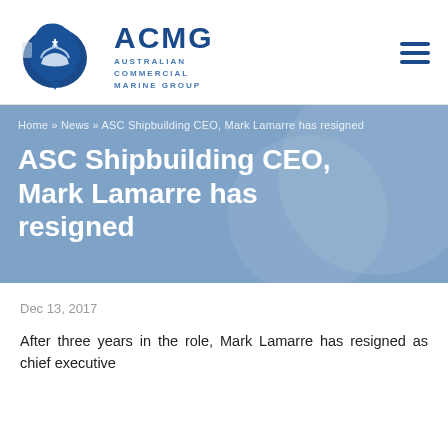[Figure (logo): ACMG Australian Commercial Marine Group logo with ship/Australia map icon in blue]
Home » News » ASC Shipbuilding CEO, Mark Lamarre has resigned
ASC Shipbuilding CEO, Mark Lamarre has resigned
Dec 13, 2017
After three years in the role, Mark Lamarre has resigned as chief executive